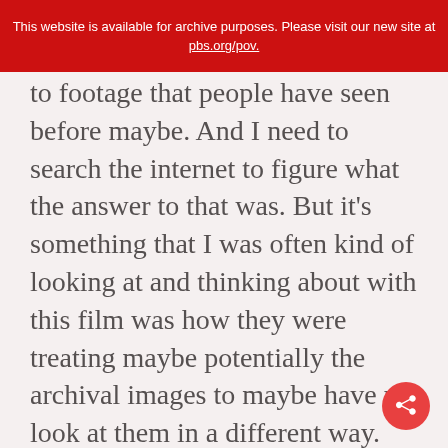This website is available for archive purposes. Please visit our new site at pbs.org/pov.
to footage that people have seen before maybe. And I need to search the internet to figure what the answer to that was. But it’s something that I was often kind of looking at and thinking about with this film was how they were treating maybe potentially the archival images to maybe have us look at them in a different way.
Joseph Krings: Yeah, I don’t know.
Maya Mumma: